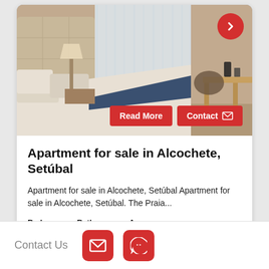[Figure (photo): Bedroom interior with a large bed with white and blue bedding, pillows, a lamp on a bedside table, large window with sheer curtains, and a wooden desk with items on the right side.]
Apartment for sale in Alcochete, Setúbal
Apartment for sale in Alcochete, Setúbal Apartment for sale in Alcochete, Setúbal. The Praia...
Bedrooms  Bathrooms  Area
Contact Us